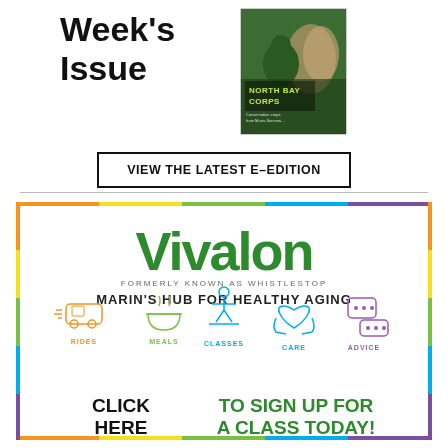Week's Issue
[Figure (photo): Magazine cover showing a person in a green hooded rain jacket standing among tall grasses. Text reads 'NORTH BAY CORPS' with subtitle about conservation corps from Marin-Sonoma.]
VIEW THE LATEST E-EDITION
[Figure (infographic): Vivalon advertisement. Formerly known as Whistlestop. Marin's Hub for Healthy Aging. Icons for Rides, Meals, Classes, Care, Advice. Call to action: CLICK HERE TO SIGN UP FOR A CLASS TODAY!]